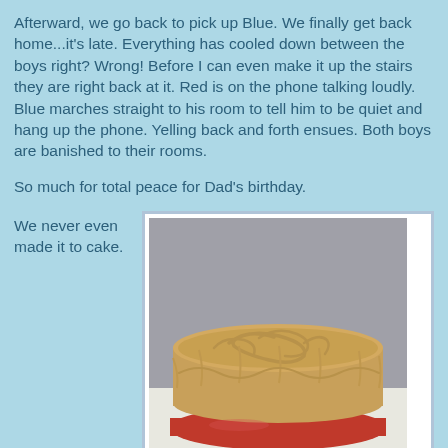Afterward, we go back to pick up Blue.  We finally get back home...it's late.  Everything has cooled down between the boys right? Wrong! Before I can even make it up the stairs they are right back at it.  Red is on the phone talking loudly.  Blue marches straight to his room to tell him to be quiet and hang up the phone.  Yelling back and forth ensues.  Both boys are banished to their rooms.
So much for total peace for Dad's birthday.
We never even made it to cake.
[Figure (photo): A round frosted cake with swirled caramel/brown frosting on a red plate, placed on a white surface with a dark background.]